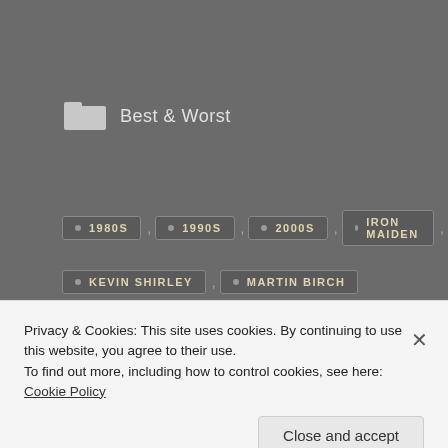Best & Worst
1980S
1990S
2000S
IRON MAIDEN
KEVIN SHIRLEY
MARTIN BIRCH
← BEST & WORST: The 10
Bruce beats cancer, new
Privacy & Cookies: This site uses cookies. By continuing to use this website, you agree to their use.
To find out more, including how to control cookies, see here: Cookie Policy
Close and accept